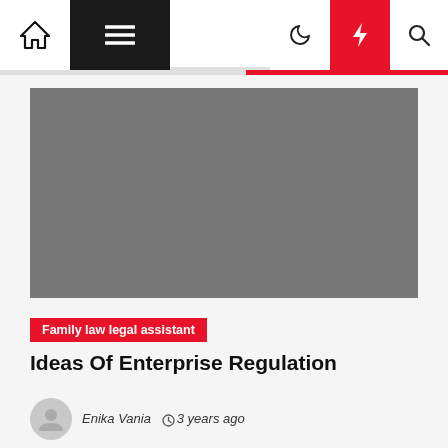Navigation bar with home, menu, moon, bolt, and search icons
[Figure (photo): Large gray rectangular placeholder image for featured article]
Family law legal assistant
Ideas Of Enterprise Regulation
Enika Vania  3 years ago